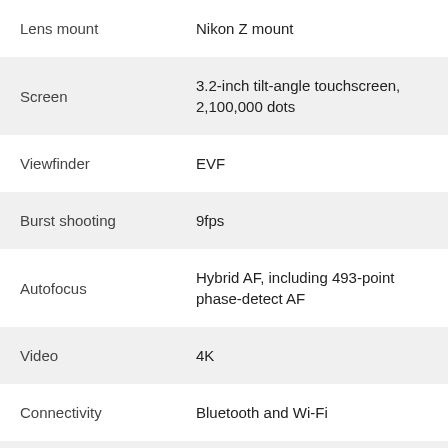| Feature | Value |
| --- | --- |
| Lens mount | Nikon Z mount |
| Screen | 3.2-inch tilt-angle touchscreen, 2,100,000 dots |
| Viewfinder | EVF |
| Burst shooting | 9fps |
| Autofocus | Hybrid AF, including 493-point phase-detect AF |
| Video | 4K |
| Connectivity | Bluetooth and Wi-Fi |
| Battery life | 330 shots |